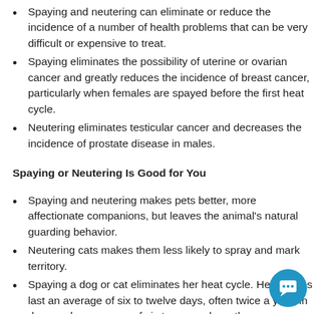Spaying and neutering can eliminate or reduce the incidence of a number of health problems that can be very difficult or expensive to treat.
Spaying eliminates the possibility of uterine or ovarian cancer and greatly reduces the incidence of breast cancer, particularly when females are spayed before the first heat cycle.
Neutering eliminates testicular cancer and decreases the incidence of prostate disease in males.
Spaying or Neutering Is Good for You
Spaying and neutering makes pets better, more affectionate companions, but leaves the animal's natural guarding behavior.
Neutering cats makes them less likely to spray and mark territory.
Spaying a dog or cat eliminates her heat cycle. Heat cycles last an average of six to twelve days, often twice a year, in dogs and an average of six to seven days, three or more times a year, in cats. Females in heat can cry incessantly, show nervous behavior, and attract unwanted male animals.
Unsterilized animals often exhibit more behavior and temperament problems than do those who have been spay…